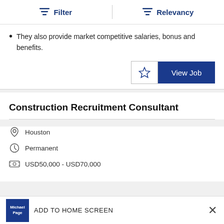Filter | Relevancy
They also provide market competitive salaries, bonus and benefits.
View Job
Construction Recruitment Consultant
Houston
Permanent
USD50,000 - USD70,000
ADD TO HOME SCREEN